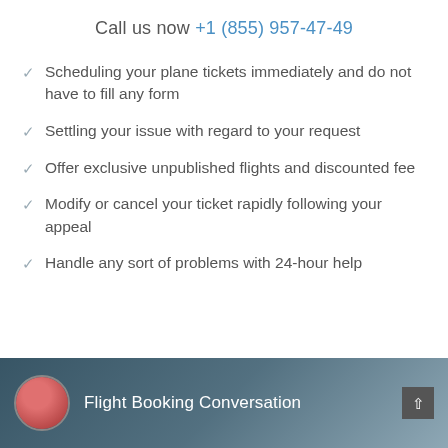Call us now +1 (855) 957-47-49
✓  Scheduling your plane tickets immediately and do not have to fill any form
✓  Settling your issue with regard to your request
✓  Offer exclusive unpublished flights and discounted fee
✓  Modify or cancel your ticket rapidly following your appeal
✓  Handle any sort of problems with 24-hour help
[Figure (screenshot): Video thumbnail showing a woman in red dress with title 'Flight Booking Conversation' and a dark background with an up-arrow button]